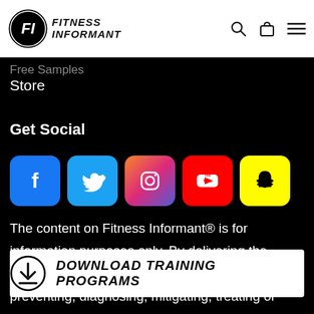FITNESS INFORMANT
Free Samples
Store
Get Social
[Figure (infographic): Social media icons: Facebook, Twitter, Instagram, YouTube, Snapchat]
The content on Fitness Informant® is for information purposes only. By delivering the information contained herein is does not mean preventing, diagnosing, mitigating, treating or curing any type of
[Figure (infographic): Download Training Programs banner with download icon]
beginning any medical supplementation